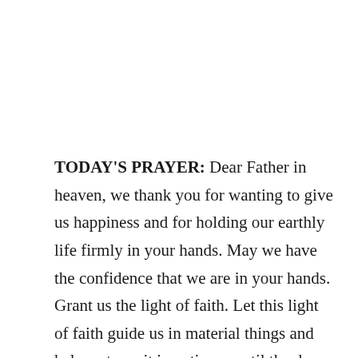TODAY'S PRAYER: Dear Father in heaven, we thank you for wanting to give us happiness and for holding our earthly life firmly in your hands. May we have the confidence that we are in your hands. Grant us the light of faith. Let this light of faith guide us in material things and help us to wait in patience until the doors open for us to pass through according to your pleasure. So bless us all. Bless our life. May we grow joyful and free of heart through all that Jesus Christ gives. On the foundation he establishes for us may